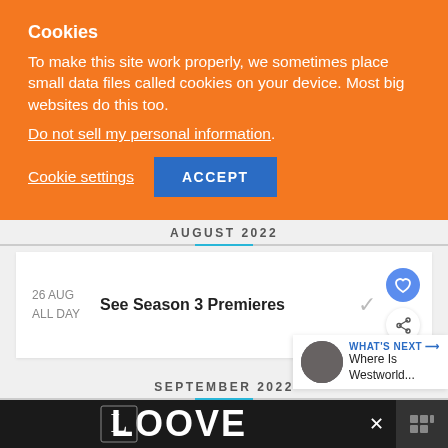Cookies
To make this site work properly, we sometimes place small data files called cookies on your device. Most big websites do this too.
Do not sell my personal information.
Cookie settings | ACCEPT
AUGUST 2022
26 AUG
ALL DAY
See Season 3 Premieres
WHAT'S NEXT → Where Is Westworld...
SEPTEMBER 2022
[Figure (screenshot): LOOVE advertisement banner with decorative letter artwork and close button]